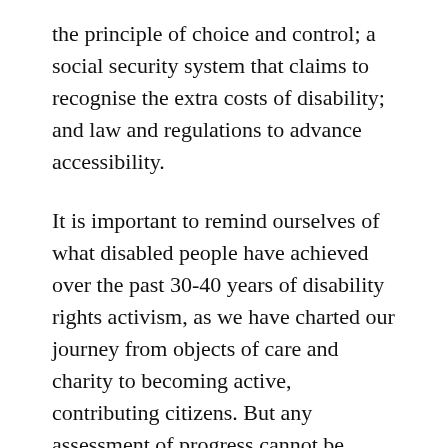the principle of choice and control; a social security system that claims to recognise the extra costs of disability; and law and regulations to advance accessibility.
It is important to remind ourselves of what disabled people have achieved over the past 30-40 years of disability rights activism, as we have charted our journey from objects of care and charity to becoming active, contributing citizens. But any assessment of progress cannot be confined solely to what we now have, or where we were in the past. And judging by the UK’s direction of travel, the